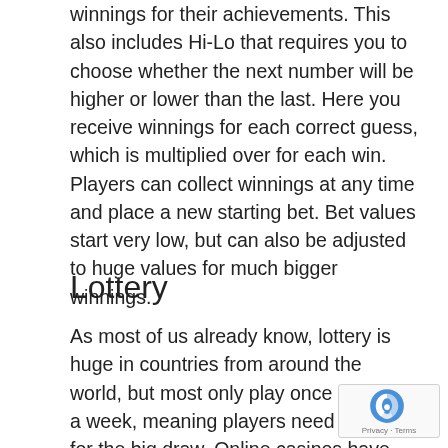winnings for their achievements. This also includes Hi-Lo that requires you to choose whether the next number will be higher or lower than the last. Here you receive winnings for each correct guess, which is multiplied over for each win. Players can collect winnings at any time and place a new starting bet. Bet values start very low, but can also be adjusted to huge values for much bigger winnings.
Lottery
As most of us already know, lottery is huge in countries from around the world, but most only play once or twice a week, meaning players need to wait for the big draw. Online casinos have come up with new game options that allow you to play lottery style games all day long. These